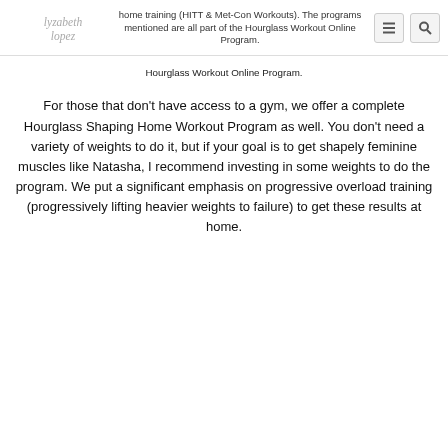home training (HITT & Met-Con Workouts). The programs mentioned are all part of the Hourglass Workout Online Program.
For those that don't have access to a gym, we offer a complete Hourglass Shaping Home Workout Program as well. You don't need a variety of weights to do it, but if your goal is to get shapely feminine muscles like Natasha, I recommend investing in some weights to do the program. We put a significant emphasis on progressive overload training (progressively lifting heavier weights to failure) to get these results at home.